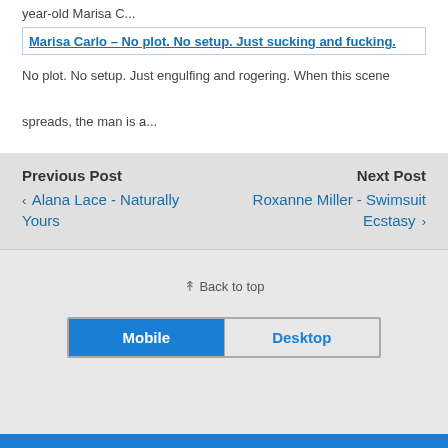year-old Marisa C...
Marisa Carlo – No plot. No setup. Just sucking and fucking.
No plot. No setup. Just engulfing and rogering. When this scene spreads, the man is a...
Previous Post
‹ Alana Lace - Naturally Yours
Next Post
Roxanne Miller - Swimsuit Ecstasy ›
⇈ Back to top
Mobile
Desktop